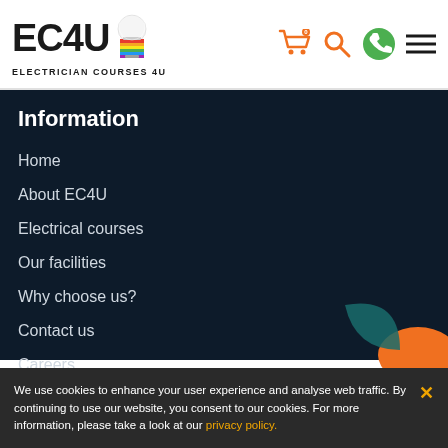[Figure (logo): EC4U Electrician Courses 4U logo with colorful lightbulb icon and navigation icons (cart, search, phone, menu)]
Information
Home
About EC4U
Electrical courses
Our facilities
Why choose us?
Contact us
Careers
FAQs
Testimonials
We use cookies to enhance your user experience and analyse web traffic. By continuing to use our website, you consent to our cookies. For more information, please take a look at our privacy policy.